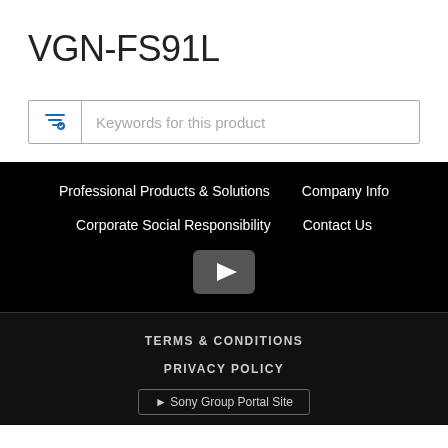VGN-FS91L
Keywords for this product
Professional Products & Solutions
Company Info
Corporate Social Responsibility
Contact Us
[Figure (other): YouTube play button icon]
TERMS & CONDITIONS
PRIVACY POLICY
▶ Sony Group Portal Site